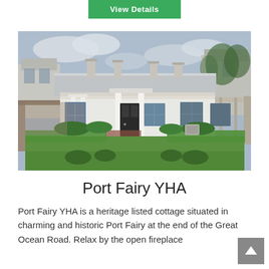[Figure (other): Green 'View Details' button at top of page]
[Figure (photo): Aerial/drone photograph of Port Fairy YHA, a heritage listed white Victorian cottage with a metal roof, front columns, and a large green lawn, surrounded by a timber fence, with other houses and trees visible in the background.]
Port Fairy YHA
Port Fairy YHA is a heritage listed cottage situated in charming and historic Port Fairy at the end of the Great Ocean Road. Relax by the open fireplace...